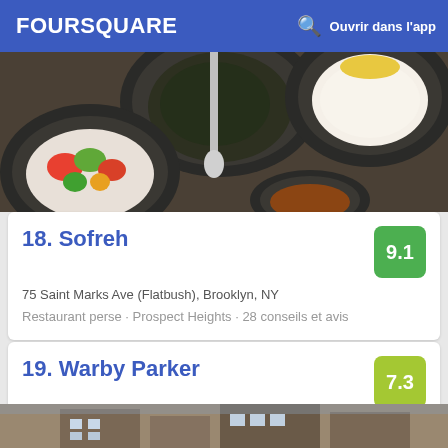FOURSQUARE  Ouvrir dans l'app
[Figure (photo): Overhead view of Persian food dishes including rice, stew, and vegetable salad in white bowls on a dark table]
18. Sofreh
9.1
75 Saint Marks Ave (Flatbush), Brooklyn, NY
Restaurant perse · Prospect Heights · 28 conseils et avis
19. Warby Parker
7.3
208 Flatbush Avenue, Brooklyn, NY
Opticien · North Slope · Ni conseil ni avis
[Figure (photo): Bottom of page showing partial view of a building exterior]